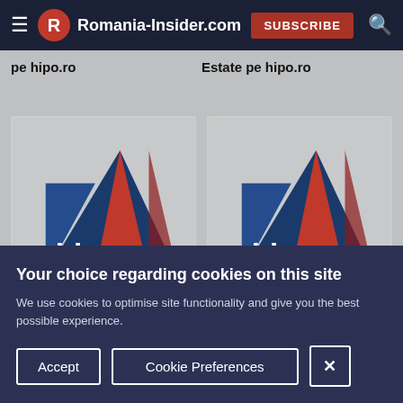Romania-Insider.com | SUBSCRIBE
pe hipo.ro
Estate pe hipo.ro
[Figure (logo): Hipo logo with geometric triangles in blue and red with text 'hipo']
[Figure (logo): Hipo logo with geometric triangles in blue and red with text 'hipo']
Your choice regarding cookies on this site
We use cookies to optimise site functionality and give you the best possible experience.
Accept | Cookie Preferences | X